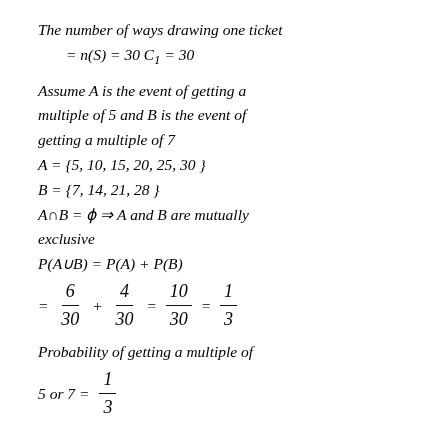The number of ways drawing one ticket
Assume A is the event of getting a multiple of 5 and B is the event of getting a multiple of 7
Probability of getting a multiple of